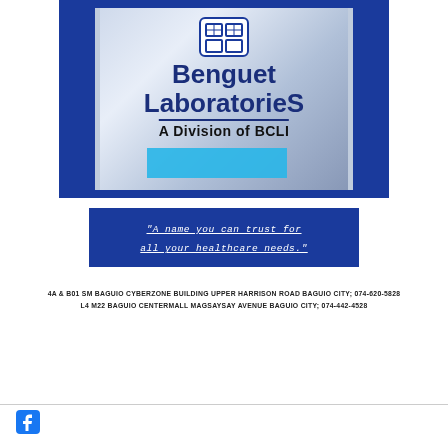[Figure (photo): Photo of Benguet Laboratories signage showing logo and text 'Benguet Laboratories A Division of BCLI' on a blue and white background]
"A name you can trust for all your healthcare needs."
4A & B01 SM BAGUIO CYBERZONE BUILDING UPPER HARRISON ROAD BAGUIO CITY; 074-620-5828
L4 M22 BAGUIO CENTERMALL MAGSAYSAY AVENUE BAGUIO CITY; 074-442-4528
[Figure (logo): Facebook icon logo]